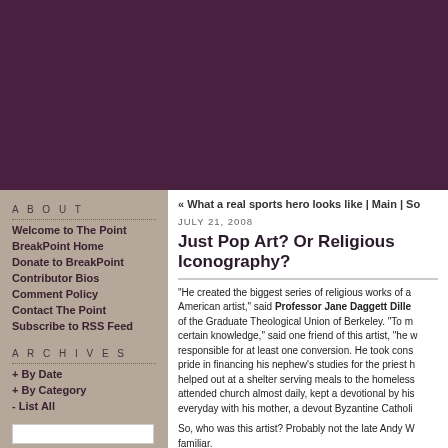« What a real sports hero looks like | Main | So...
JULY 21, 2008
Just Pop Art? Or Religious Iconography?
"He created the biggest series of religious works of a... American artist," said Professor Jane Daggett Dille... of the Graduate Theological Union of Berkeley. "To m... certain knowledge," said one friend of this artist, "he w... responsible for at least one conversion. He took cons... pride in financing his nephew's studies for the priest h... helped out at a shelter serving meals to the homeless... attended church almost daily, kept a devotional by his... everyday with his mother, a devout Byzantine Catholi...
So, who was this artist? Probably not the late Andy W... familiar.
This isn't news, actually. In the late nineties Dr. Dille n... more than one hundred renditions of Leonardo da Vir... references to his faith have been mentioned und...
ABOUT
Welcome to The Point
BreakPoint Home
Donate to BreakPoint
Contributor Bios
Comment Policy
Contact The Point
Subscribe to RSS Feed
ARCHIVES
+ By Date
+ By Category
- List All